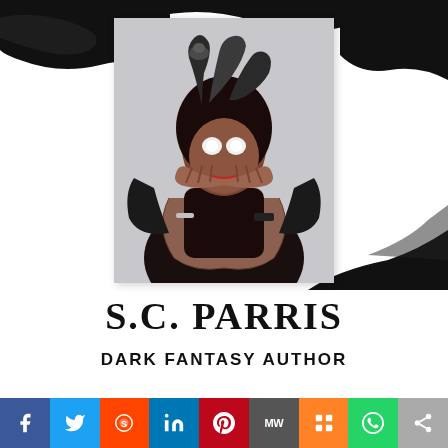[Figure (photo): Author photo of S.C. Parris wearing a dramatic dark fantasy headpiece with tentacle/horn decorations, covering face with hands, glowing white eyes, dark clothing, dark hair]
S.C. PARRIS
DARK FANTASY AUTHOR
[Figure (infographic): Social media sharing bar with icons: Facebook (blue), Twitter (light blue), Reddit (orange-red), LinkedIn (blue), Pinterest (red), MeWe (grey), Mix (orange), WhatsApp (green), Share (grey)]